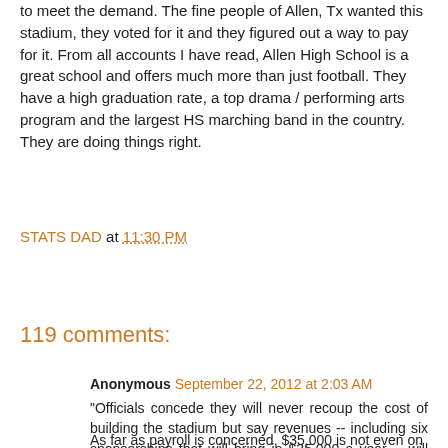to meet the demand. The fine people of Allen, Tx wanted this stadium, they voted for it and they figured out a way to pay for it. From all accounts I have read, Allen High School is a great school and offers much more than just football. They have a high graduation rate, a top drama / performing arts program and the largest HS marching band in the country. They are doing things right.
STATS DAD at 11:30 PM
Share
119 comments:
Anonymous September 22, 2012 at 2:03 AM
"Officials concede they will never recoup the cost of building the stadium but say revenues -- including six sponsorships that will bring in $35,000 a year -- will cover the cost of operating it."
As far as payroll is concerned, $35,000 is not even on